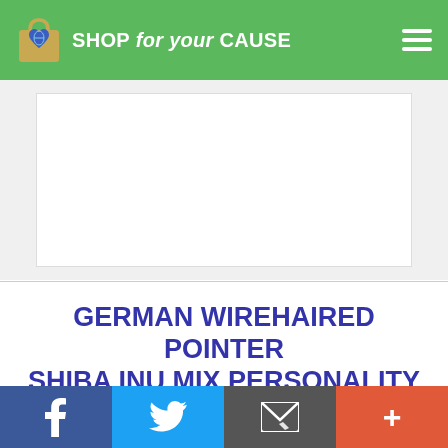SHOP for your CAUSE
[Figure (other): Advertisement placeholder area with white background]
GERMAN WIREHAIRED POINTER SHIBA INU MIX PERSONALITY
The German Wirehaired Pointer and the Shiba Inu
Social share bar: Facebook, Twitter, Email, More